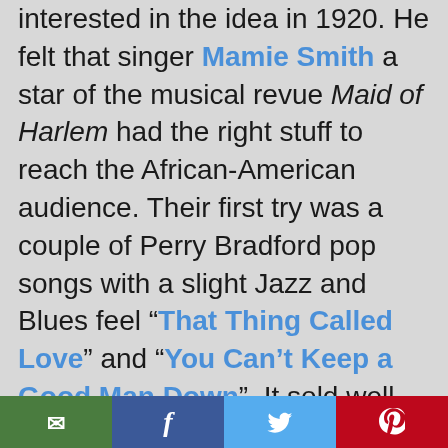interested in the idea in 1920. He felt that singer Mamie Smith a star of the musical revue Maid of Harlem had the right stuff to reach the African-American audience. Their first try was a couple of Perry Bradford pop songs with a slight Jazz and Blues feel “That Thing Called Love” and “You Can’t Keep a Good Man Down”. It sold well enough that Okeh was willing to be a little more adventurous and record some real contemporary African-American music on their next release.
[Figure (other): Social media sharing bar with email, Facebook, Twitter, and Pinterest buttons]